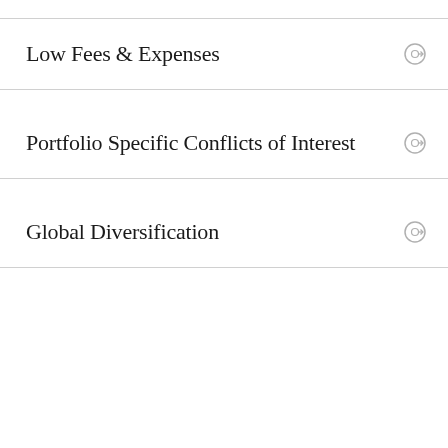Low Fees & Expenses
Portfolio Specific Conflicts of Interest
Global Diversification